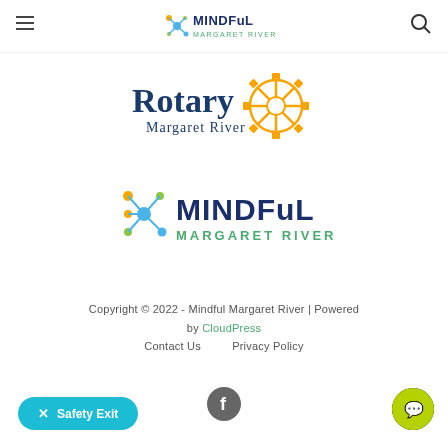Mindful Margaret River
[Figure (logo): Rotary Margaret River logo — blue text 'Rotary' with orange gear/wheel emblem and 'Margaret River' subtitle]
[Figure (logo): Mindful Margaret River logo — colorful molecule/network icon with dark blue 'MINDFuL' text and green 'MARGARET RIVER' subtitle]
Copyright © 2022 - Mindful Margaret River | Powered by CloudPress
Contact Us    Privacy Policy